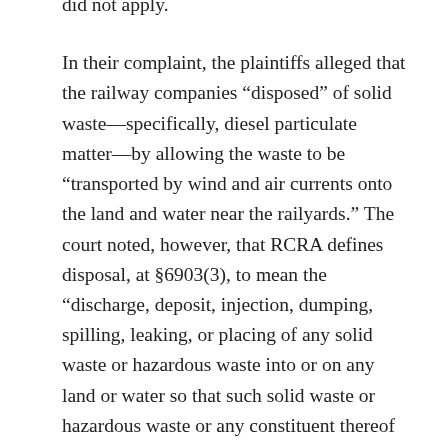did not apply.

In their complaint, the plaintiffs alleged that the railway companies “disposed” of solid waste—specifically, diesel particulate matter—by allowing the waste to be “transported by wind and air currents onto the land and water near the railyards.” The court noted, however, that RCRA defines disposal, at §6903(3), to mean the “discharge, deposit, injection, dumping, spilling, leaking, or placing of any solid waste or hazardous waste into or on any land or water so that such solid waste or hazardous waste or any constituent thereof may enter the environment or be emitted into the air or discharged into any waters, including ground waters.” Although that definition does not plainly state whether emissions of solid waste into the air fall within its scope, the court found it nonetheless provided sufficient contextual clues to compel the